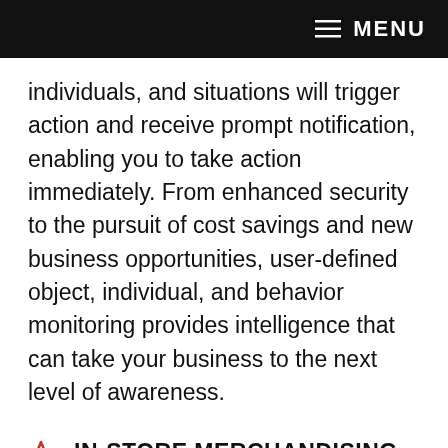MENU
individuals, and situations will trigger action and receive prompt notification, enabling you to take action immediately. From enhanced security to the pursuit of cost savings and new business opportunities, user-defined object, individual, and behavior monitoring provides intelligence that can take your business to the next level of awareness.
IN-STORE MERCHANDISING ANALYTICS TO DETERMINE IDEAL PRODUCT PLACEMENT